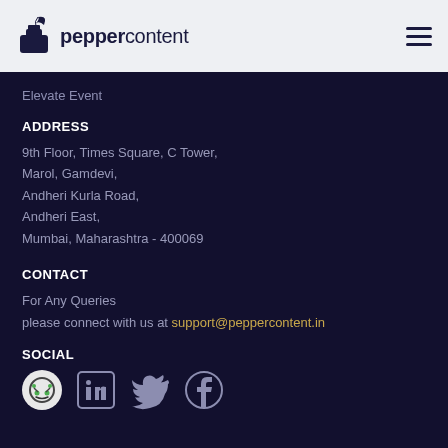peppercontent
Elevate Event
ADDRESS
9th Floor, Times Square, C Tower,
Marol, Gamdevi,
Andheri Kurla Road,
Andheri East,
Mumbai, Maharashtra - 400069
CONTACT
For Any Queries
please connect with us at support@peppercontent.in
SOCIAL
[Figure (logo): Social media icons: Reddit-like icon, LinkedIn, Twitter, Facebook]